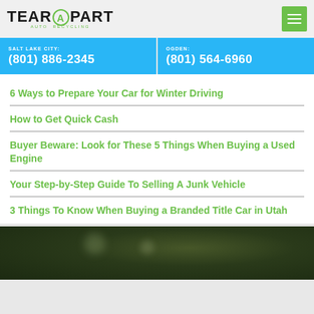[Figure (logo): TearAPart Auto Recycling logo with green circle A and green menu button]
SALT LAKE CITY: (801) 886-2345 | OGDEN: (801) 564-6960
6 Ways to Prepare Your Car for Winter Driving
How to Get Quick Cash
Buyer Beware: Look for These 5 Things When Buying a Used Engine
Your Step-by-Step Guide To Selling A Junk Vehicle
3 Things To Know When Buying a Branded Title Car in Utah
[Figure (photo): Dark green blurred foliage background photo]